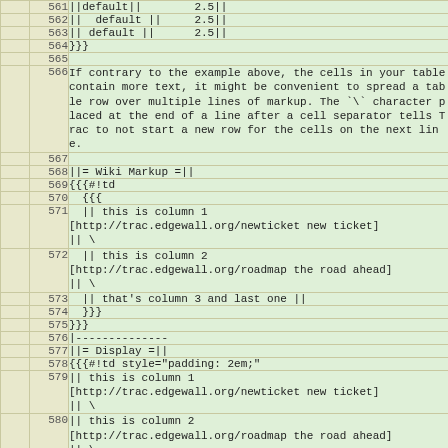|  | line | code |
| --- | --- | --- |
|  | 561 | ||default||        2.5|| |
|  | 562 | ||  default ||     2.5|| |
|  | 563 | || default ||      2.5|| |
|  | 564 | }}} |
|  | 565 |  |
|  | 566 | If contrary to the example above, the cells in your table contain more text, it might be convenient to spread a table row over multiple lines of markup. The `\` character placed at the end of a line after a cell separator tells Trac to not start a new row for the cells on the next line. |
|  | 567 |  |
|  | 568 | ||= Wiki Markup =|| |
|  | 569 | {{{#!td |
|  | 570 |   {{{ |
|  | 571 |   || this is column 1
[http://trac.edgewall.org/newticket new ticket]
|| \ |
|  | 572 |   || this is column 2
[http://trac.edgewall.org/roadmap the road ahead]
|| \ |
|  | 573 |   || that's column 3 and last one || |
|  | 574 |   }}} |
|  | 575 | }}} |
|  | 576 | |-------------- |
|  | 577 | ||= Display =|| |
|  | 578 | {{{#!td style="padding: 2em;" |
|  | 579 | || this is column 1
[http://trac.edgewall.org/newticket new ticket]
|| \ |
|  | 580 | || this is column 2
[http://trac.edgewall.org/roadmap the road ahead]
|| \ |